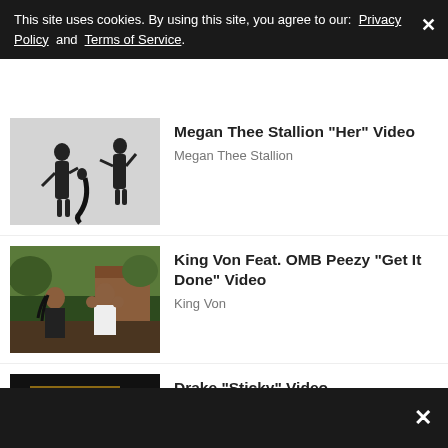This site uses cookies. By using this site, you agree to our: Privacy Policy and Terms of Service.
Megan Thee Stallion "Her" Video
Megan Thee Stallion
King Von Feat. OMB Peezy "Get It Done" Video
King Von
Drake "Sticky" Video
Drake
Eminem Feat. 50 Cent, Dr. Dre "Crack A...